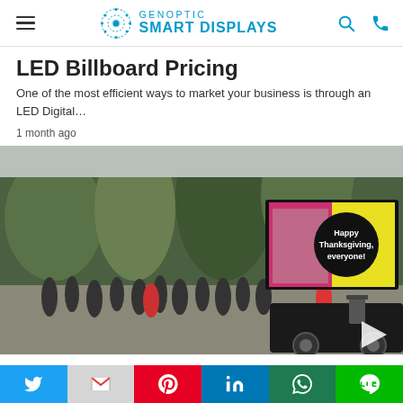Genoptic Smart Displays — navigation header with hamburger menu, logo, search and phone icons
LED Billboard Pricing
One of the most efficient ways to market your business is through an LED Digital…
1 month ago
[Figure (photo): A mobile LED billboard trailer displaying a 'Happy Thanksgiving, everyone!' message in a park setting with a crowd of people walking in the background. Trees are visible. A white play/navigation triangle is overlaid at bottom right.]
Social sharing bar: Twitter, Gmail, Pinterest, LinkedIn, WhatsApp, Line